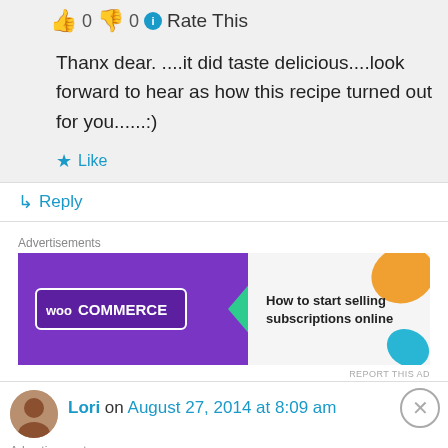👍 0 👎 0 ℹ️ Rate This
Thanx dear. ....it did taste delicious....look forward to hear as how this recipe turned out for you......:)
★ Like
↳ Reply
Advertisements
[Figure (other): WooCommerce ad banner: How to start selling subscriptions online]
REPORT THIS AD
Lori on August 27, 2014 at 8:09 am
Advertisements
[Figure (other): Longreads ad banner: The best stories on the web — ours, and everyone else's.]